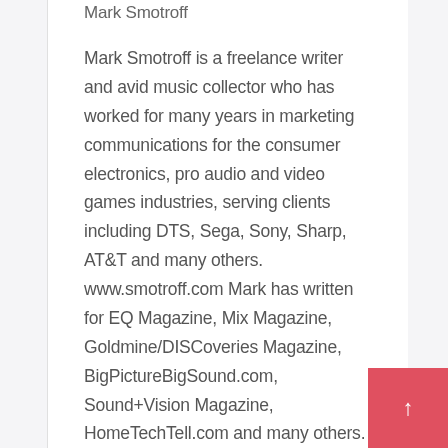Mark Smotroff
Mark Smotroff is a freelance writer and avid music collector who has worked for many years in marketing communications for the consumer electronics, pro audio and video games industries, serving clients including DTS, Sega, Sony, Sharp, AT&T and many others. www.smotroff.com Mark has written for EQ Magazine, Mix Magazine, Goldmine/DISCoveries Magazine, BigPictureBigSound.com, Sound+Vision Magazine, HomeTechTell.com and many others. He is also a musician / composer whose songs have been used in TV shows such as Smallville and Men In Trees as well as films and